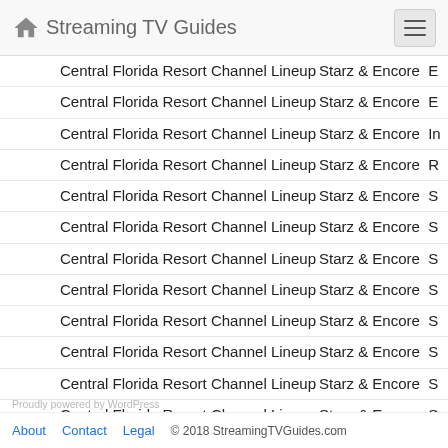Streaming TV Guides
Central Florida Resort Channel Lineup Starz & Encore E
Central Florida Resort Channel Lineup Starz & Encore E
Central Florida Resort Channel Lineup Starz & Encore In
Central Florida Resort Channel Lineup Starz & Encore R
Central Florida Resort Channel Lineup Starz & Encore S
Central Florida Resort Channel Lineup Starz & Encore S
Central Florida Resort Channel Lineup Starz & Encore S
Central Florida Resort Channel Lineup Starz & Encore S
Central Florida Resort Channel Lineup Starz & Encore S
Central Florida Resort Channel Lineup Starz & Encore S
Central Florida Resort Channel Lineup Starz & Encore S
Central Florida Resort Channel Lineup Starz & Encore S
Central Florida Resort Channel Lineup Seasonal Sports F
Central Florida Resort Channel Lineup Seasonal Sports M
Central Florida Resort Channel Lineup Seasonal Sports M
About  Contact  Legal  © 2018 StreamingTVGuides.com